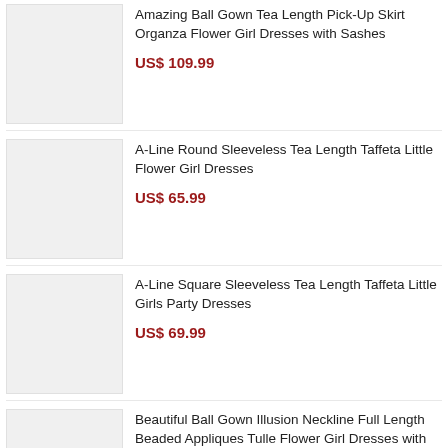Amazing Ball Gown Tea Length Pick-Up Skirt Organza Flower Girl Dresses with Sashes — US$ 109.99
A-Line Round Sleeveless Tea Length Taffeta Little Flower Girl Dresses — US$ 65.99
A-Line Square Sleeveless Tea Length Taffeta Little Girls Party Dresses — US$ 69.99
Beautiful Ball Gown Illusion Neckline Full Length Beaded Appliques Tulle Flower Girl Dresses with Half Sleeves — US$ 109.99
Cute A-Line Tea Length Pleated Satin Flower Girl Dress with Slight Cap Sleeves — US$ 85.99
Designer Halter Crystal Detailing Layered Skirt Girls Party